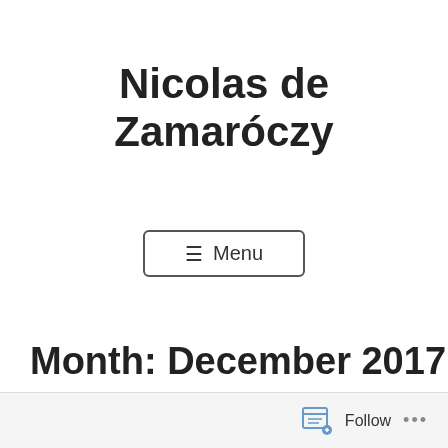Nicolas de Zamaróczy
[Figure (other): Menu button with hamburger icon and text 'Menu']
Month: December 2017
Follow ...